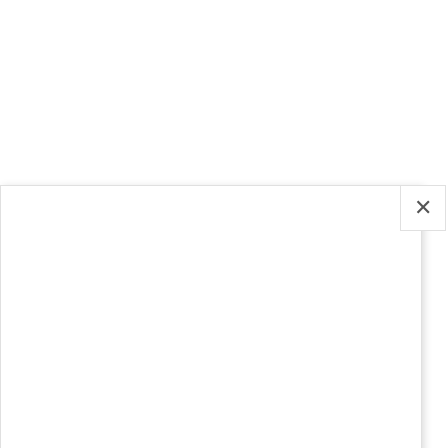Amazing Hotel Apartments You Can't Miss to Afford When Traveling to Riyadh
Riyadh is an amazing destination for visitors. It is home to famous museums and historic sites, such as the Murabba Palace and the Masmak Fortress. Whether you
This website uses cookies.
[Figure (screenshot): Cookie accept button (green) and social sharing icon bar with Tumblr and StumbleUpon icons]